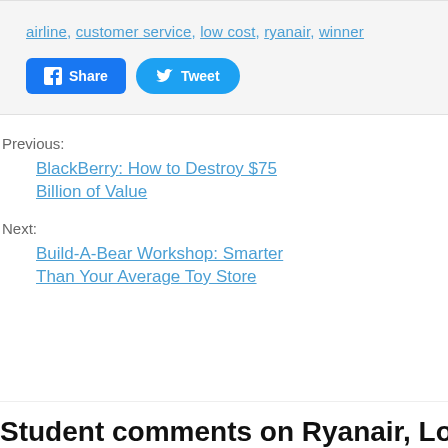airline, customer service, low cost, ryanair, winner
[Figure (other): Facebook Share button and Twitter Tweet button]
Previous:
BlackBerry: How to Destroy $75 Billion of Value
Next:
Build-A-Bear Workshop: Smarter Than Your Average Toy Store
Student comments on Ryanair, Low prices…